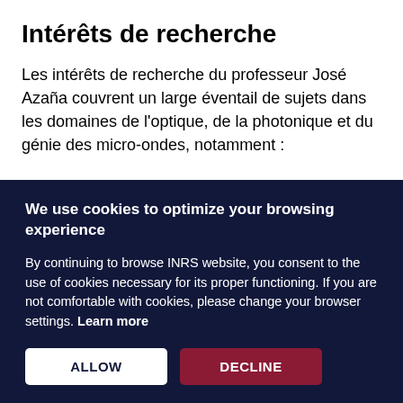Intérêts de recherche
Les intérêts de recherche du professeur José Azaña couvrent un large éventail de sujets dans les domaines de l'optique, de la photonique et du génie des micro-ondes, notamment :
We use cookies to optimize your browsing experience
By continuing to browse INRS website, you consent to the use of cookies necessary for its proper functioning. If you are not comfortable with cookies, please change your browser settings. Learn more
ALLOW
DECLINE